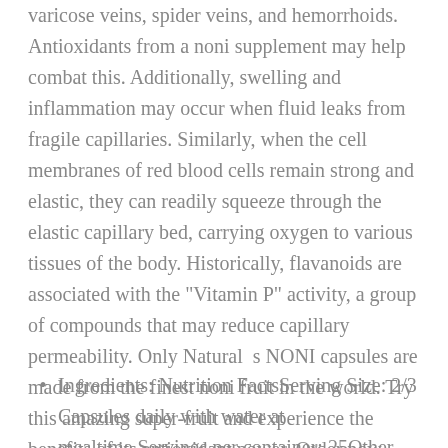varicose veins, spider veins, and hemorrhoids. Antioxidants from a noni supplement may help combat this. Additionally, swelling and inflammation may occur when fluid leaks from fragile capillaries. Similarly, when the cell membranes of red blood cells remain strong and elastic, they can readily squeeze through the elastic capillary bed, carrying oxygen to various tissues of the body. Historically, flavanoids are associated with the "Vitamin P" activity, a group of compounds that may reduce capillary permeability. Only Natural  s NONI capsules are made from the finest noni fruit in the world. Try this amazing super-fruit and experience the benefits of its antioxidant power. Order now.
Ingredients: Nutrition FactsServing Size: 2/3 Capsules daily with water at mealtime.Servings per container: 25Other Ingredients: gelatin, water and…